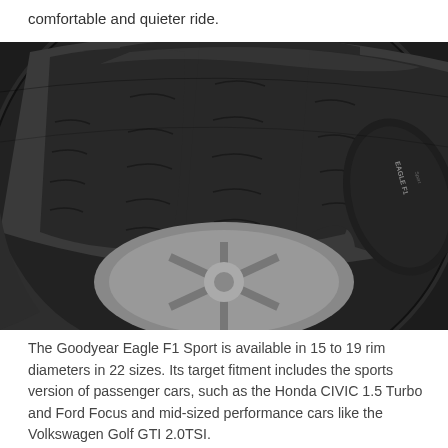comfortable and quieter ride.
[Figure (photo): Close-up photograph of a Goodyear Eagle F1 Sport tire showing the tread pattern with multiple grooves and the sidewall with Eagle F1 branding, mounted on an alloy wheel.]
The Goodyear Eagle F1 Sport is available in 15 to 19 rim diameters in 22 sizes. Its target fitment includes the sports version of passenger cars, such as the Honda CIVIC 1.5 Turbo and Ford Focus and mid-sized performance cars like the Volkswagen Golf GTI 2.0TSI.